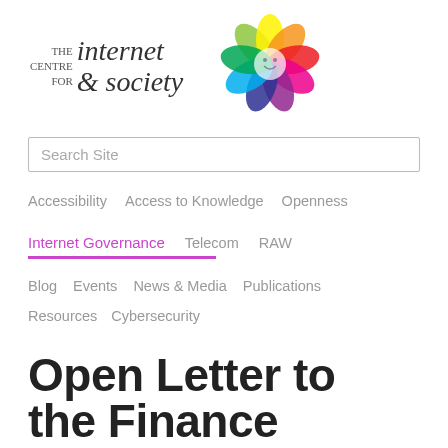[Figure (logo): The Centre for Internet & Society logo with colorful flower/mandala graphic and italic serif wordmark]
Search Site
Accessibility
Access to Knowledge
Openness
Internet Governance
Telecom
RAW
Blog
Events
News & Media
Publications
Resources
Cybersecurity
Open Letter to the Finance Committee, UP